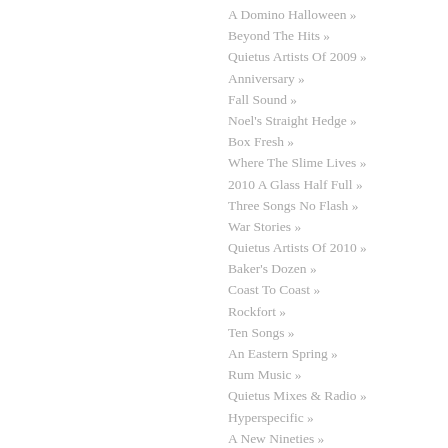A Domino Halloween »
Beyond The Hits »
Quietus Artists Of 2009 »
Anniversary »
Fall Sound »
Noel's Straight Hedge »
Box Fresh »
Where The Slime Lives »
2010 A Glass Half Full »
Three Songs No Flash »
War Stories »
Quietus Artists Of 2010 »
Baker's Dozen »
Coast To Coast »
Rockfort »
Ten Songs »
An Eastern Spring »
Rum Music »
Quietus Mixes & Radio »
Hyperspecific »
A New Nineties »
Quietus Artists Of 2011 »
Strange World Of... »
The Long Lunch »
Afrosonic »
John Peel's Records »
Hoody Who »
The Calvert Report »
Radio-Activity »
Tape Adapter »